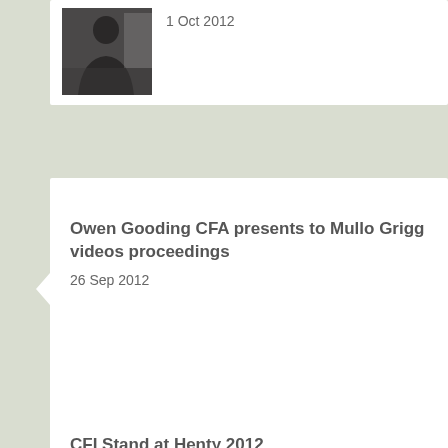[Figure (photo): Partial card at top showing a person standing in front of a whiteboard/poster, with date 1 Oct 2012]
1 Oct 2012
Owen Gooding CFA presents to Mullo Grigg videos proceedings
26 Sep 2012
CFI Stand at Henty 2012
25 Sep 2012